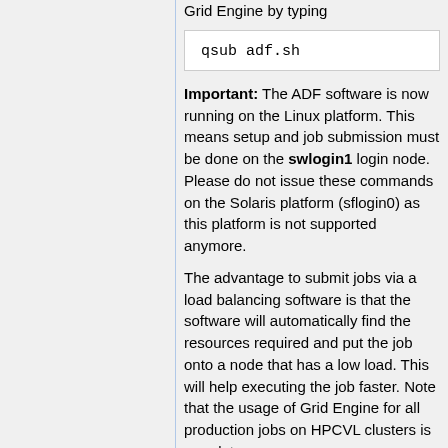Grid Engine by typing
qsub adf.sh
Important: The ADF software is now running on the Linux platform. This means setup and job submission must be done on the swlogin1 login node. Please do not issue these commands on the Solaris platform (sflogin0) as this platform is not supported anymore.
The advantage to submit jobs via a load balancing software is that the software will automatically find the resources required and put the job onto a node that has a low load. This will help executing the job faster. Note that the usage of Grid Engine for all production jobs on HPCVL clusters is mandatory.